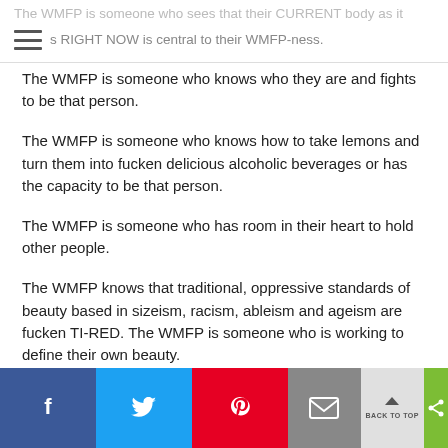The WMFP is someone who sees that their CURRENT body as it exists RIGHT NOW is central to their WMFP-ness.
The WMFP is someone who knows who they are and fights to be that person.
The WMFP is someone who knows how to take lemons and turn them into fucken delicious alcoholic beverages or has the capacity to be that person.
The WMFP is someone who has room in their heart to hold other people.
The WMFP knows that traditional, oppressive standards of beauty based in sizeism, racism, ableism and ageism are fucken TI-RED. The WMFP is someone who is working to define their own beauty.
The WMFP is not strong all the time and doesn't feel like a badass all
f  [twitter]  [pinterest]  [mail]  BACK TO TOP  [share]